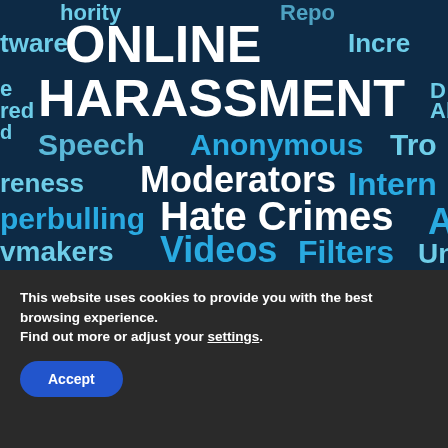[Figure (illustration): Word cloud on dark blue background featuring online harassment related terms: ONLINE, HARASSMENT, Speech, Anonymous, Moderators, Hate Crimes, Videos, Filters, Cyberbullying, Lawmakers, Internet, and more in white, light blue, and cyan colors.]
This website uses cookies to provide you with the best browsing experience.
Find out more or adjust your settings.
Accept